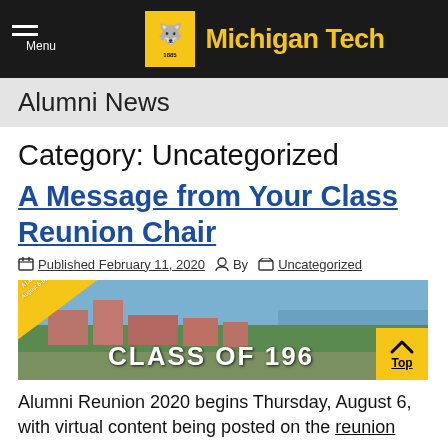Michigan Tech – Menu
Alumni News
Category: Uncategorized
A Message from Your Class Reunion Chair
Published February 11, 2020  By  Uncategorized
[Figure (photo): Aerial campus photo with yellow Alumni Reunion August 6-8, 2020 banner and text CLASS OF 196...]
Alumni Reunion 2020 begins Thursday, August 6, with virtual content being posted on the reunion